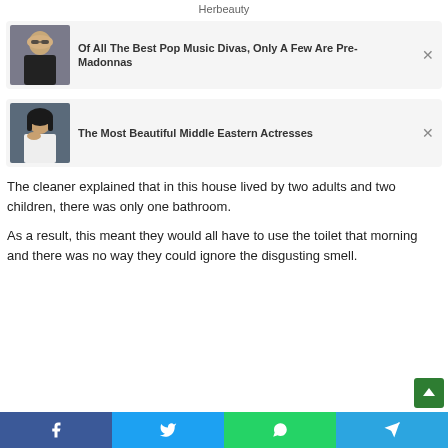Herbeauty
[Figure (other): Ad card with photo of blonde woman: Of All The Best Pop Music Divas, Only A Few Are Pre-Madonnas]
[Figure (other): Ad card with photo of dark-haired woman: The Most Beautiful Middle Eastern Actresses]
The cleaner explained that in this house lived by two adults and two children, there was only one bathroom.
As a result, this meant they would all have to use the toilet that morning and there was no way they could ignore the disgusting smell.
[Figure (infographic): Social share bar with Facebook, Twitter, WhatsApp, and Telegram buttons]